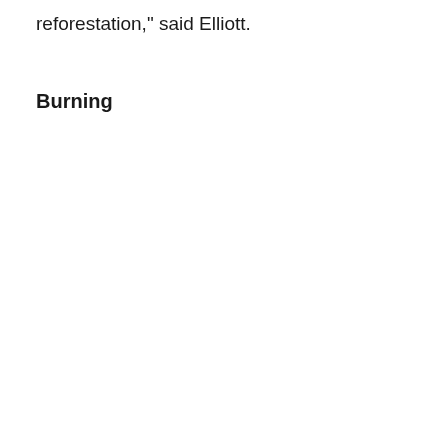reforestation," said Elliott.
Burning